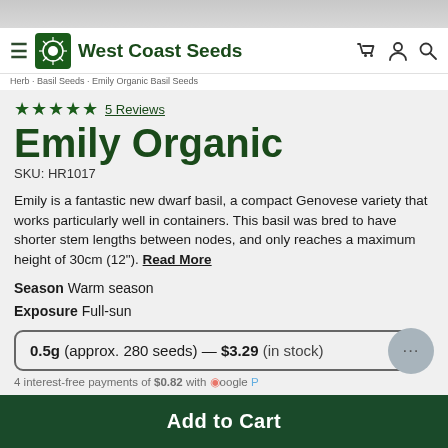[Figure (photo): Top portion of a product photo (cropped, light grey background)]
West Coast Seeds — navigation header with hamburger menu, logo, brand name, cart, user, and search icons
Herb · Basil Seeds · Emily Organic Basil Seeds
★★★★★  5 Reviews
Emily Organic
SKU: HR1017
Emily is a fantastic new dwarf basil, a compact Genovese variety that works particularly well in containers. This basil was bred to have shorter stem lengths between nodes, and only reaches a maximum height of 30cm (12"). Read More
Season  Warm season
Exposure  Full-sun
0.5g (approx. 280 seeds) — $3.29 (in stock)
4 interest-free payments of $0.82 with Google Pay
Add to Cart